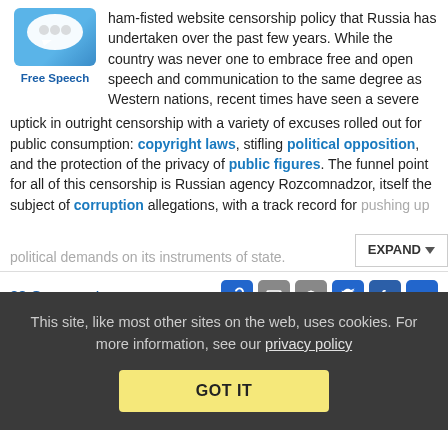[Figure (illustration): Speech bubble illustration on blue background representing Free Speech]
Free Speech
ham-fisted website censorship policy that Russia has undertaken over the past few years. While the country was never one to embrace free and open speech and communication to the same degree as Western nations, recent times have seen a severe uptick in outright censorship with a variety of excuses rolled out for public consumption: copyright laws, stifling political opposition, and the protection of the privacy of public figures. The funnel point for all of this censorship is Russian agency Rozcomnadzor, itself the subject of corruption allegations, with a track record for pushing up political demands on its instruments of state.
32 Comments
[Figure (other): Row of social sharing icons: link, email, reddit, twitter, facebook, linkedin]
Russia Threatens To Ban YouTube And Twitter, But Probably Won't Try
This site, like most other sites on the web, uses cookies. For more information, see our privacy policy
GOT IT